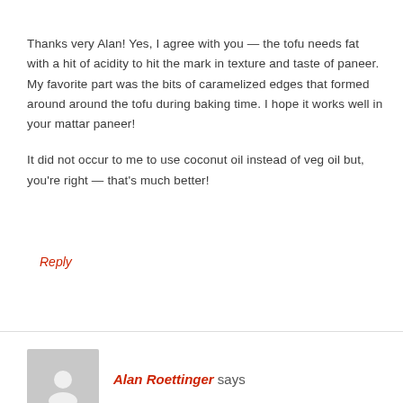Thanks very Alan! Yes, I agree with you — the tofu needs fat with a hit of acidity to hit the mark in texture and taste of paneer. My favorite part was the bits of caramelized edges that formed around around the tofu during baking time. I hope it works well in your mattar paneer!

It did not occur to me to use coconut oil instead of veg oil but, you're right — that's much better!
Reply
Alan Roettinger says